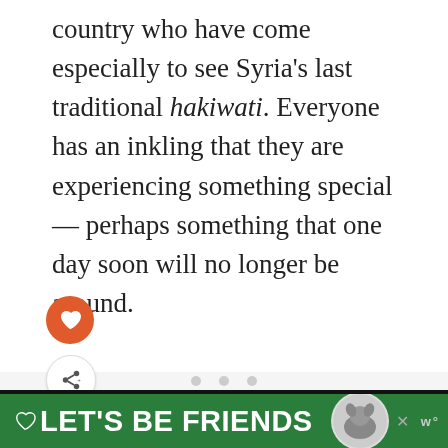country who have come especially to see Syria's last traditional hakiwati. Everyone has an inkling that they are experiencing something special — perhaps something that one day soon will no longer be around.
[Figure (other): Advertisement banner at bottom of page showing green background with heart icon, text 'LET'S BE FRIENDS', dog illustration, close button, and logo]